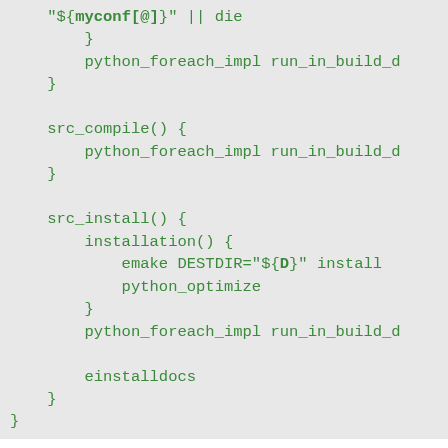[Figure (other): Code block showing shell script functions: closing braces and python_foreach_impl run_in_build_d calls, src_compile() function, src_install() function with installation() sub-block containing emake DESTDIR='${D}' install, python_optimize, python_foreach_impl run_in_build_d, einstalldocs, and closing braces]
The distutils-r1 equivalent of python_setup parameters is the DISTUTILS_ALL_SUBPHASE_IMPLS variable. Alternatively to global scope, it can be set in an